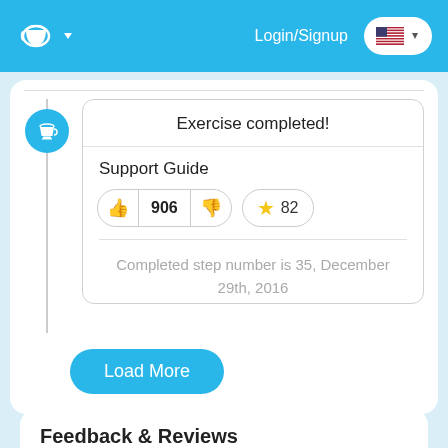Login/Signup
Exercise completed!
Support Guide
👍 906 👎  ★ 82
Completed step number is 35, December 29th, 2016
Load More
Feedback & Reviews